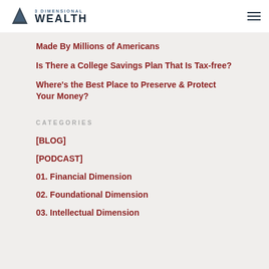3 DIMENSIONAL WEALTH
Made By Millions of Americans
Is There a College Savings Plan That Is Tax-free?
Where's the Best Place to Preserve & Protect Your Money?
CATEGORIES
[BLOG]
[PODCAST]
01. Financial Dimension
02. Foundational Dimension
03. Intellectual Dimension